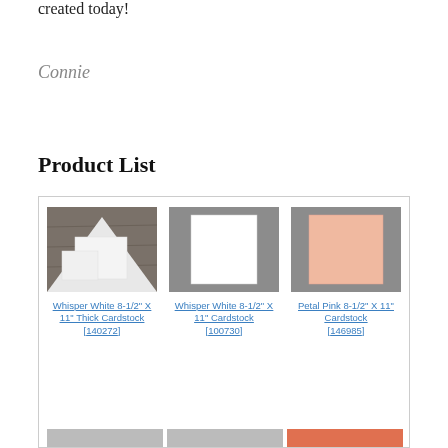created today!
Connie
Product List
[Figure (photo): Three product images side by side: Whisper White 8-1/2 X 11 Thick Cardstock showing white cards on wood background, Whisper White 8-1/2 X 11 Cardstock showing white sheet on gray background, Petal Pink 8-1/2 X 11 Cardstock showing pink sheet on gray background. Each with product name and item number below.]
Whisper White 8-1/2" X 11" Thick Cardstock [140272]
Whisper White 8-1/2" X 11" Cardstock [100730]
Petal Pink 8-1/2" X 11" Cardstock [146985]